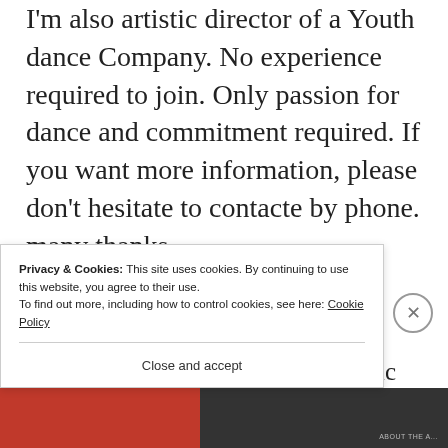I'm also artistic director of a Youth dance Company. No experience required to join. Only passion for dance and commitment required. If you want more information, please don't hesitate to contacte by phone. many thanks,
Erica P. Borges
Laois Youth Dance Ensemble artistic
Privacy & Cookies: This site uses cookies. By continuing to use this website, you agree to their use.
To find out more, including how to control cookies, see here: Cookie Policy
Close and accept